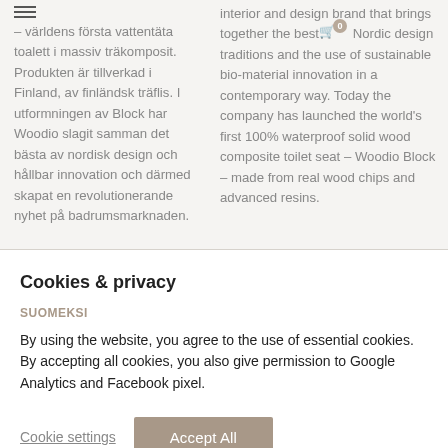– världens första vattentäta toalett i massiv träkomposit. Produkten är tillverkad i Finland, av finländsk träflis. I utformningen av Block har Woodio slagit samman det bästa av nordisk design och hållbar innovation och därmed skapat en revolutionerande nyhet på badrumsmarknaden.
interior and design brand that brings together the best Nordic design traditions and the use of sustainable bio-material innovation in a contemporary way. Today the company has launched the world's first 100% waterproof solid wood composite toilet seat – Woodio Block – made from real wood chips and advanced resins.
Cookies & privacy
SUOMEKSI
By using the website, you agree to the use of essential cookies. By accepting all cookies, you also give permission to Google Analytics and Facebook pixel.